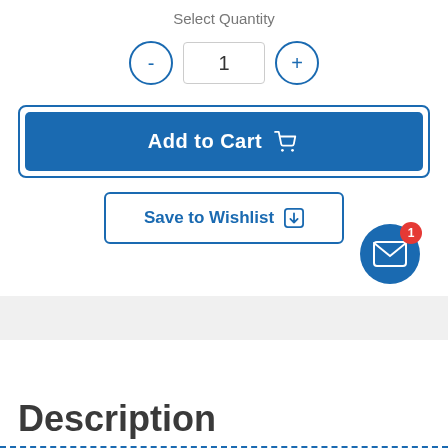Select Quantity
[Figure (screenshot): Quantity selector with minus button, input field showing '1', and plus button]
[Figure (screenshot): Add to Cart button with shopping cart icon, blue background]
[Figure (screenshot): Save to Wishlist button with download icon, white background with blue border]
[Figure (screenshot): Mail notification icon with badge showing '1']
Description